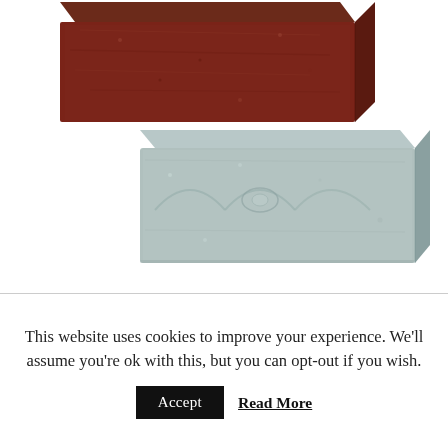[Figure (photo): Two polishing compound bars on white background: a dark red/brown rectangular bar at the top left, and a light blue-grey rectangular bar in the center-right area below it.]
This website uses cookies to improve your experience. We'll assume you're ok with this, but you can opt-out if you wish.
Accept   Read More